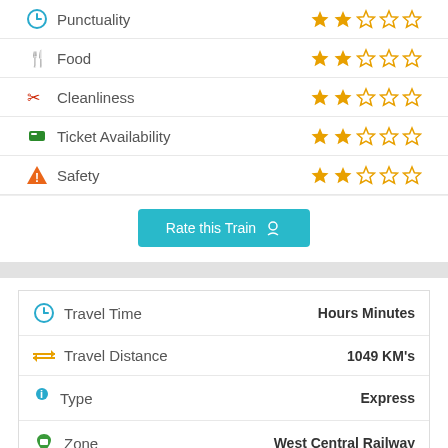Punctuality — 2 stars out of 5
Food — 2 stars out of 5
Cleanliness — 2 stars out of 5
Ticket Availability — 2 stars out of 5
Safety — 2 stars out of 5
Rate this Train
| Category | Value |
| --- | --- |
| Travel Time | Hours Minutes |
| Travel Distance | 1049 KM's |
| Type | Express |
| Zone | West Central Railway |
| Run By |  |